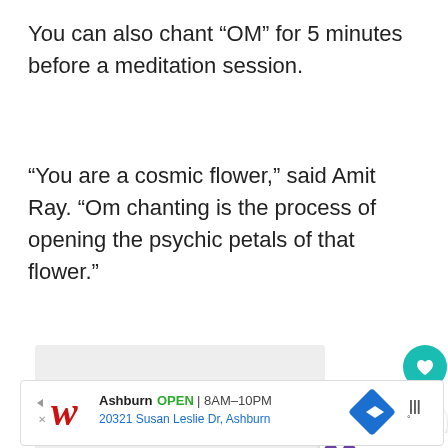You can also chant “OM” for 5 minutes before a meditation session.
"You are a cosmic flower," said Amit Ray. "Om chanting is the process of opening the psychic petals of that flower."
[Figure (screenshot): Slideshow image area with navigation dots, heart/like button (teal circle), share button (white circle with shadow), and 'What's Next' panel showing '10 Ways To Open Your...' link with a meditation icon]
[Figure (infographic): Advertisement bar for Walgreens: Ashburn OPEN 8AM-10PM, 20321 Susan Leslie Dr, Ashburn, with Walgreens logo, navigation arrow icon, and audio/bars icon]